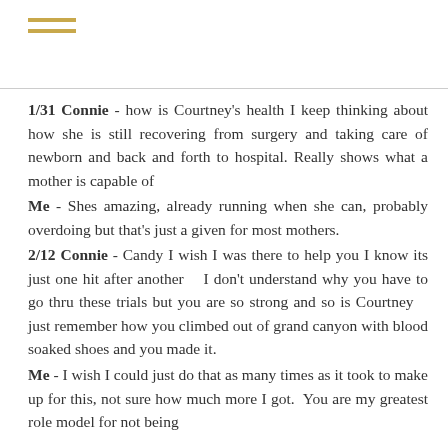≡ (hamburger menu icon)
1/31 Connie - how is Courtney's health I keep thinking about how she is still recovering from surgery and taking care of newborn and back and forth to hospital. Really shows what a mother is capable of
Me - Shes amazing, already running when she can, probably overdoing but that's just a given for most mothers.
2/12 Connie - Candy I wish I was there to help you I know its just one hit after another   I don't understand why you have to go thru these trials but you are so strong and so is Courtney   just remember how you climbed out of grand canyon with blood soaked shoes and you made it.
Me - I wish I could just do that as many times as it took to make up for this, not sure how much more I got.  You are my greatest role model for not being